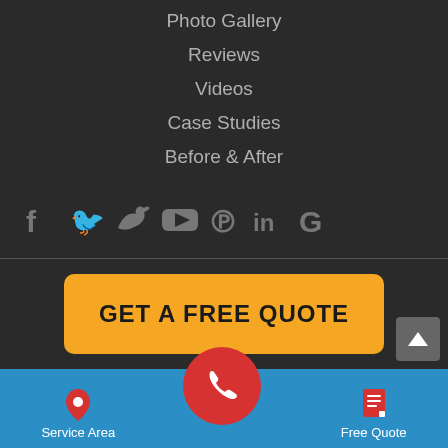Photo Gallery
Reviews
Videos
Case Studies
Before & After
[Figure (infographic): Social media icons: Facebook, Twitter, YouTube, Pinterest, LinkedIn, Google]
[Figure (infographic): Orange button with bold black text GET A FREE QUOTE]
[Figure (infographic): Blue bottom navigation bar with Service Area (map pin icon), phone circle button (red), and Free Quote (document icon)]